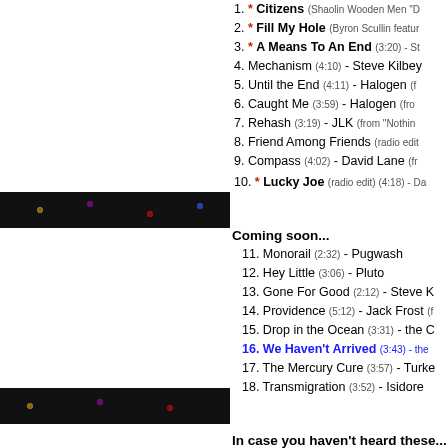1. * Citizens (Shaolin Wooden Men "D...
2. * Fill My Hole (Byron Scullin featur...
3. * A Means To An End (3:20) - St...
4. Mechanism (4:10) - Steve Kilbey...
5. Until the End (4:11) - Halogen (f...
6. Caught Me (3:59) - Halogen (fro...
7. Rehash (3:19) - JLK (from "Nothin...
8. Friend Among Friends (radio edit...
9. Compass (4:02) - David Lane (fr...
10. * Lucky Joe (radio edit) (4:18) - Da...
Coming soon...
11. Monorail (2:32) - Pugwash
12. Hey Little (3:06) - Pluto
13. Gone For Good (2:12) - Steve K...
14. Providence (5:12) - Jack Frost (f...
15. Drop in the Ocean (3:31) - the C...
16. We Haven't Arrived (3:43) - the...
17. The Mercury Cure (3:57) - Turke...
18. Transmigration (3:52) - Isidore
In case you haven't heard these...
19. My Ancient Vihmaana (5:24) - S...
20. Hurricane Lamp (3:38) - Warp F...